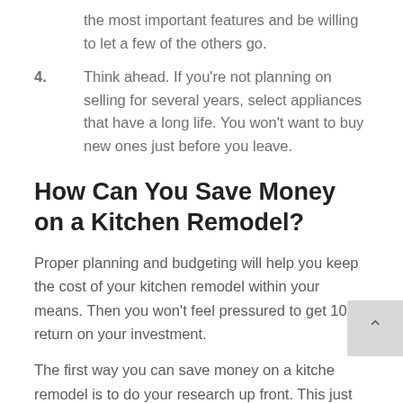the most important features and be willing to let a few of the others go.
4. Think ahead. If you're not planning on selling for several years, select appliances that have a long life. You won't want to buy new ones just before you leave.
How Can You Save Money on a Kitchen Remodel?
Proper planning and budgeting will help you keep the cost of your kitchen remodel within your means. Then you won't feel pressured to get 100% return on your investment.
The first way you can save money on a kitchen remodel is to do your research up front. This just the fun part of looking at pictures of kitchens